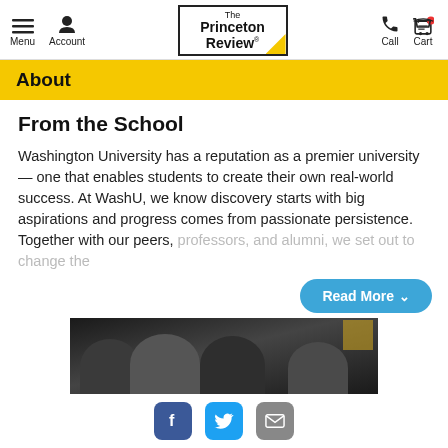Menu  Account  The Princeton Review  Call  Cart
About
From the School
Washington University has a reputation as a premier university — one that enables students to create their own real-world success. At WashU, we know discovery starts with big aspirations and progress comes from passionate persistence. Together with our peers, professors, and alumni, we set out to change the
[Figure (photo): Photo of students, partially visible, dark background]
[Figure (other): Social media icons: Facebook, Twitter, Email]